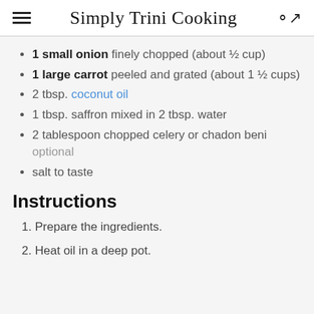Simply Trini Cooking
1 small onion finely chopped (about ½ cup)
1 large carrot peeled and grated (about 1 ½ cups)
2 tbsp. coconut oil
1 tbsp. saffron mixed in 2 tbsp. water
2 tablespoon chopped celery or chadon beni optional
salt to taste
Instructions
1. Prepare the ingredients.
2. Heat oil in a deep pot.